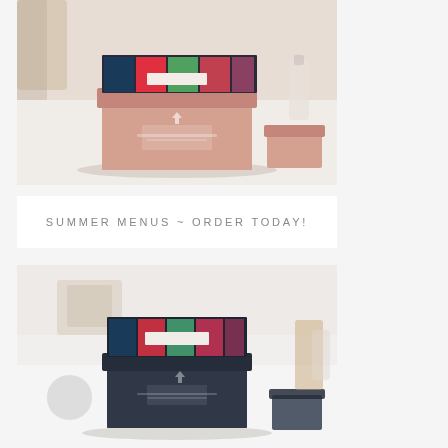[Figure (photo): A pink/rose-colored recipe or menu box with colorful cards/tabs visible at the top, sitting on a white countertop. A small matching pink box is visible to the right. Background shows blurred kitchen items.]
SUMMER MENUS ~ ORDER TODAY!
[Figure (photo): A dark navy/charcoal colored recipe or menu box with colorful cards/tabs visible at the top, sitting on a white countertop. The box appears to be a darker version of the one above. Kitchen background is blurred and bright.]